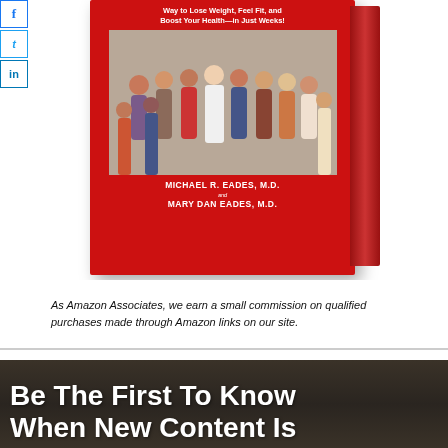[Figure (photo): Book cover of a diet/health book by Michael R. Eades, M.D. and Mary Dan Eades, M.D. showing a group of people on the cover, displayed as a 3D book with spine visible]
As Amazon Associates, we earn a small commission on qualified purchases made through Amazon links on our site.
Be The First To Know When New Content Is